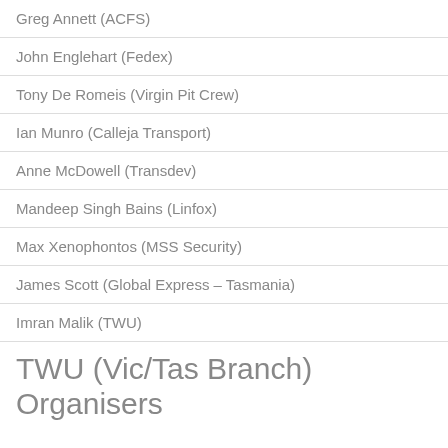Greg Annett (ACFS)
John Englehart (Fedex)
Tony De Romeis (Virgin Pit Crew)
Ian Munro (Calleja Transport)
Anne McDowell (Transdev)
Mandeep Singh Bains (Linfox)
Max Xenophontos (MSS Security)
James Scott (Global Express – Tasmania)
Imran Malik (TWU)
TWU (Vic/Tas Branch) Organisers